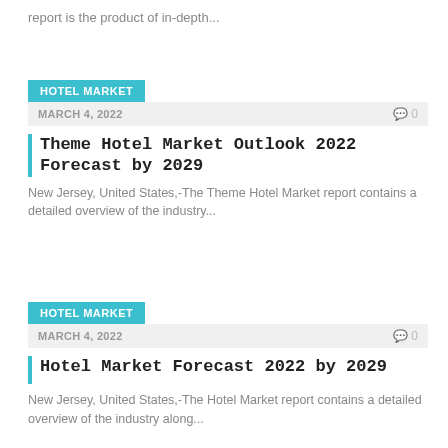report is the product of in-depth...
HOTEL MARKET
MARCH 4, 2022   0
Theme Hotel Market Outlook 2022 Forecast by 2029
New Jersey, United States,-The Theme Hotel Market report contains a detailed overview of the industry...
HOTEL MARKET
MARCH 4, 2022   0
Hotel Market Forecast 2022 by 2029
New Jersey, United States,-The Hotel Market report contains a detailed overview of the industry along...